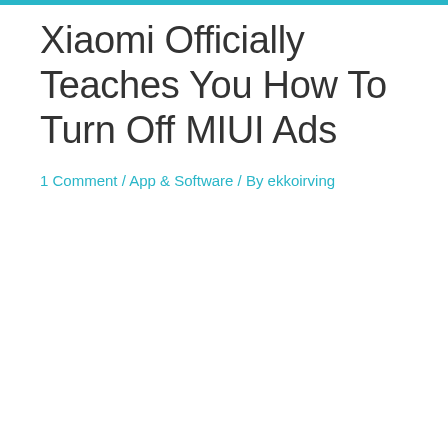Xiaomi Officially Teaches You How To Turn Off MIUI Ads
1 Comment / App & Software / By ekkoirving